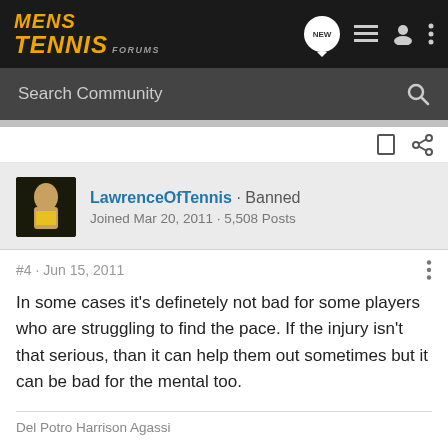MENS TENNIS FORUMS
Search Community
LawrenceOfTennis · Banned
Joined Mar 20, 2011 · 5,508 Posts
#4 · Jun 15, 2011
In some cases it's definetely not bad for some players who are struggling to find the pace. If the injury isn't that serious, than it can help them out sometimes but it can be bad for the mental too.
Del Potro Harrison Agassi